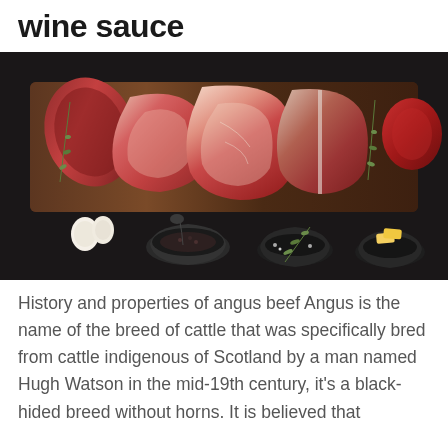wine sauce
[Figure (photo): Various raw beef cuts arranged on a dark wooden cutting board — including ribeye, strip steak, tenderloin, and other cuts — alongside ingredients including garlic cloves, a mortar and pestle with black pepper, a bowl with rosemary and salt, and a dish of butter cubes, all on a dark stone/slate background.]
History and properties of angus beef Angus is the name of the breed of cattle that was specifically bred from cattle indigenous of Scotland by a man named Hugh Watson in the mid-19th century, it's a black-hided breed without horns. It is believed that